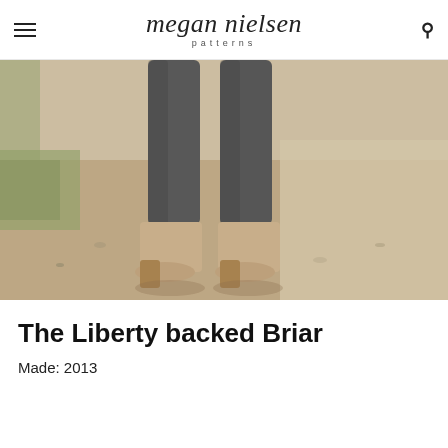megan nielsen patterns
[Figure (photo): Close-up photo of a person's legs wearing dark gray skinny jeans and tan/beige ankle boots with block heels, standing on a dirt path outdoors with grass and gravel visible.]
The Liberty backed Briar
Made: 2013